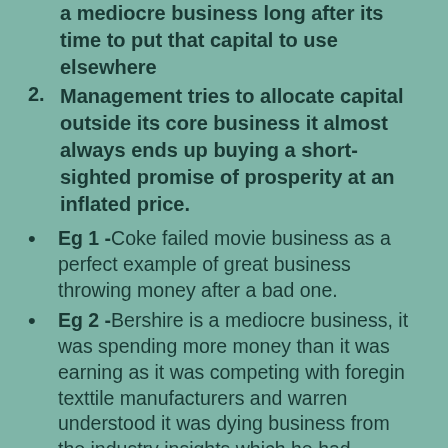a mediocre business long after its time to put that capital to use elsewhere
Management tries to allocate capital outside its core business it almost always ends up buying a short-sighted promise of prosperity at an inflated price.
Eg 1 -Coke failed movie business as a perfect example of great business throwing money after a bad one.
Eg 2 -Bershire is a mediocre business, it was spending more money than it was earning as it was competing with foregin texttile manufacturers and warren understood it was dying business from the industry insights which he had analyzed over the years. So he stopped spending Bershires working capital on the textile business and used to acquire insurance company which is better business in a